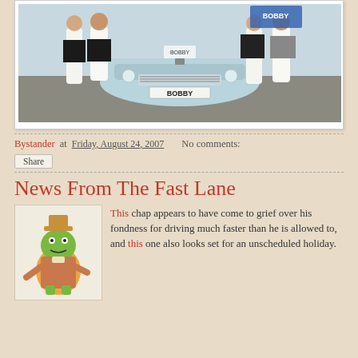[Figure (photo): Group of people in white shirts standing around a light blue vintage car with the number plate 'BOBBY', parked outdoors]
Bystander at Friday, August 24, 2007   No comments:
Share
News From The Fast Lane
[Figure (illustration): Cartoon illustration of a frog character dressed in a detective coat and hat]
This chap appears to have come to grief over his fondness for driving much faster than he is allowed to, and this one also looks set for an unscheduled holiday.